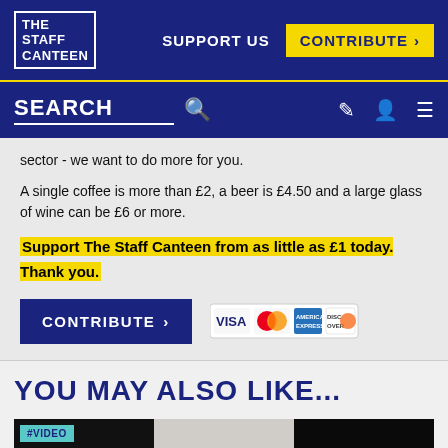THE STAFF CANTEEN | SUPPORT US | CONTRIBUTE >
SEARCH
sector - we want to do more for you.
A single coffee is more than £2, a beer is £4.50 and a large glass of wine can be £6 or more.
Support The Staff Canteen from as little as £1 today. Thank you.
[Figure (screenshot): CONTRIBUTE > button with Visa, Mastercard, American Express, and Discover payment card logos]
YOU MAY ALSO LIKE...
[Figure (photo): #VIDEO thumbnail strip showing three video thumbnails]